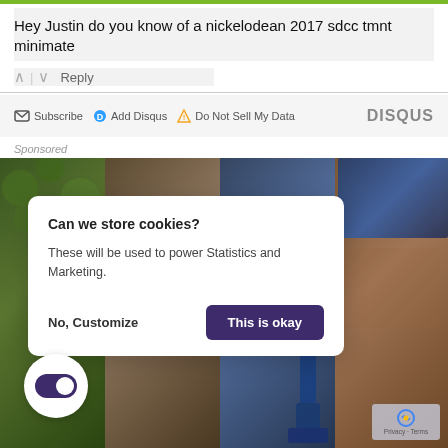Hey Justin do you know of a nickelodean 2017 sdcc tmnt minimate
^ | v Reply
Subscribe  Add Disqus  Do Not Sell My Data   DISQUS
Sponsored
[Figure (screenshot): Cookie consent modal dialog overlaid on a photo collage of outdoor construction/maintenance scenes. Modal says 'Can we store cookies? These will be used to power Statistics and Marketing.' with 'No, Customize' and 'This is okay' buttons. A purple toggle switch appears in the lower left. A reCAPTCHA badge appears lower right.]
Can we store cookies?
These will be used to power Statistics and Marketing.
No, Customize
This is okay